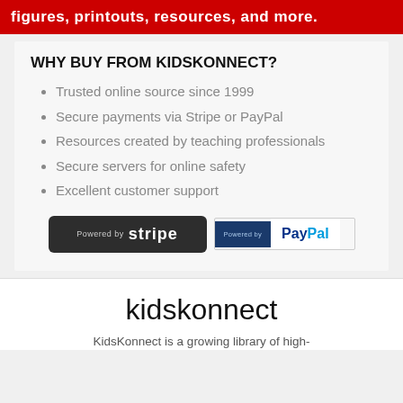figures, printouts, resources, and more.
WHY BUY FROM KIDSKONNECT?
Trusted online source since 1999
Secure payments via Stripe or PayPal
Resources created by teaching professionals
Secure servers for online safety
Excellent customer support
[Figure (logo): Powered by Stripe badge (dark background) and Powered by PayPal badge (blue and white)]
kidskonnect
KidsKonnect is a growing library of high-